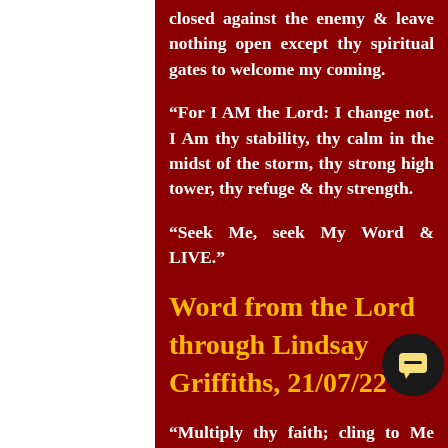closed against the enemy & leave nothing open except thy spiritual gates to welcome my coming.
“For I AM the Lord: I change not. I Am thy stability, thy calm in the midst of the storm, thy strong high tower, thy refuge & thy strength.
“Seek Me, seek My Word & LIVE.”
Word from the Lord through Lindsay Griffiths, 21/07/22
“Multiply thy faith; cling to Me more closely & I will bring you through these times of trial.